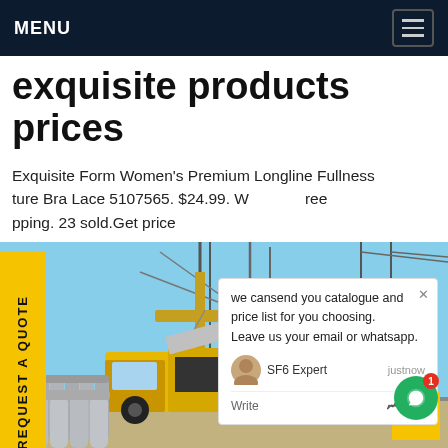MENU
exquisite products prices
Exquisite Form Women's Premium Longline Fullness ture Bra Lace 5107565. $24.99. W ree pping. 23 sold.Get price
we cansend you catalogue and price list for you choosing. Leave us your email or whatsapp.
SF6 Expert  justnow
Write
[Figure (photo): Yellow industrial service truck with equipment at an electrical substation with transformers and gas cylinders in foreground]
REQUEST A QUOTE